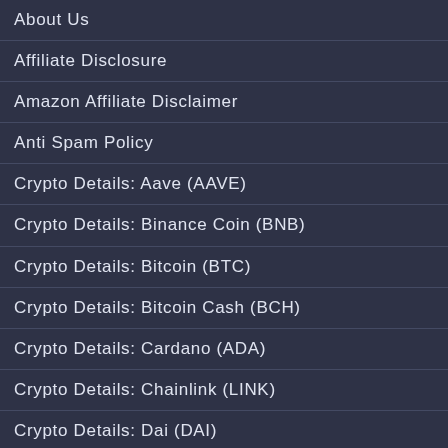About Us
Affiliate Disclosure
Amazon Affiliate Disclaimer
Anti Spam Policy
Crypto Details: Aave (AAVE)
Crypto Details: Binance Coin (BNB)
Crypto Details: Bitcoin (BTC)
Crypto Details: Bitcoin Cash (BCH)
Crypto Details: Cardano (ADA)
Crypto Details: Chainlink (LINK)
Crypto Details: Dai (DAI)
Crypto Details: Dogecoin (DOGE)
Crypto Details: Ethereum (ETH)
Crypto Details: FTX Token (FTT)